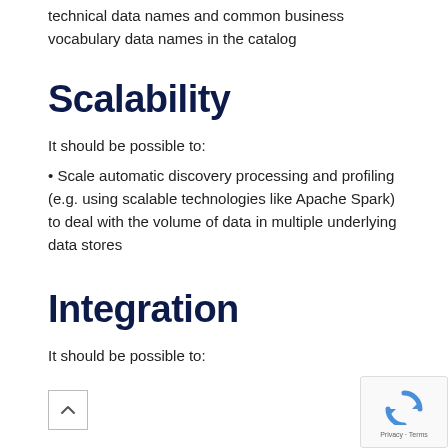technical data names and common business vocabulary data names in the catalog
Scalability
It should be possible to:
• Scale automatic discovery processing and profiling (e.g. using scalable technologies like Apache Spark) to deal with the volume of data in multiple underlying data stores
Integration
It should be possible to: